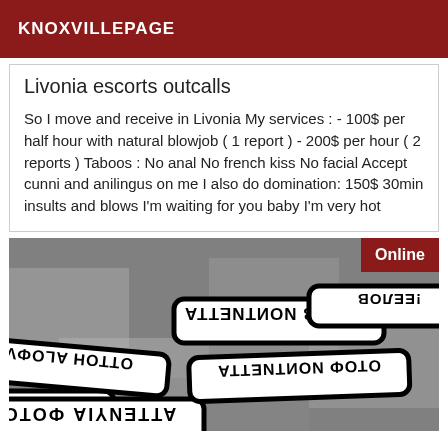KNOXVILLEPAGE
Livonia escorts outcalls
So I move and receive in Livonia My services : - 100$ per half hour with natural blowjob ( 1 report ) - 200$ per hour ( 2 reports ) Taboos : No anal No french kiss No facial Accept cunni and anilingus on me I also do domination: 150$ 30min insults and blows I'm waiting for you baby I'm very hot
[Figure (photo): Grayscale photo showing multiple overlapping warning/attention badges with reversed text reading 'ATTENTION VOLEE! PHOTO' arranged at various angles]